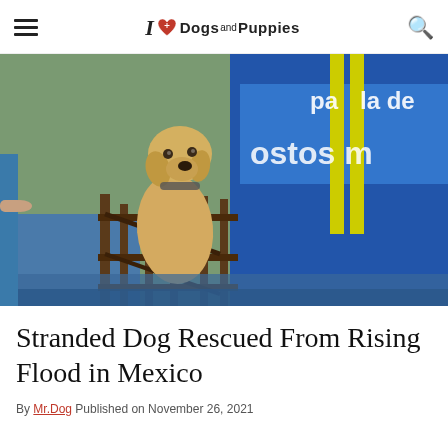I ♥ Dogs and Puppies
[Figure (photo): A yellow Labrador dog standing on a partially submerged wooden structure during a flood, with floodwater visible around it and a blue Spanish-language banner in the background reading 'pa la de ... ostos m...']
Stranded Dog Rescued From Rising Flood in Mexico
By Mr.Dog Published on November 26, 2021